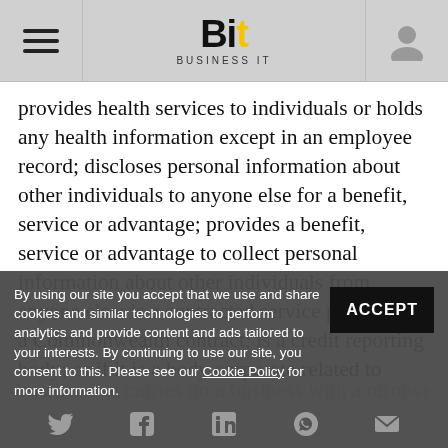Bit Business IT
provides health services to individuals or holds any health information except in an employee record; discloses personal information about other individuals to anyone else for a benefit, service or advantage; provides a benefit, service or advantage to collect personal information about other individuals from anyone else; is a contracted service provider for a Commonwealth contract; is a credit reporting body; or if it is a body corporate related to another that carries on a business with a turnover of
By using our site you accept that we use and share cookies and similar technologies to perform analytics and provide content and ads tailored to your interests. By continuing to use our site, you consent to this. Please see our Cookie Policy for more information.